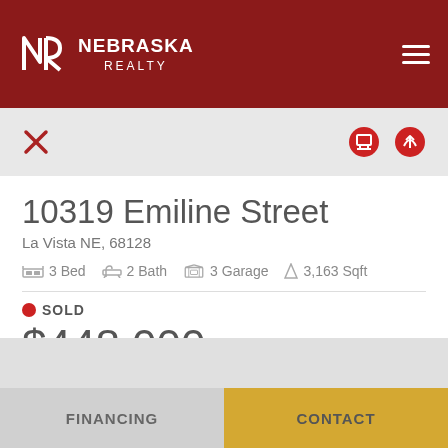[Figure (logo): Nebraska Realty logo with NR monogram in white on dark red header background with hamburger menu icon]
10319 Emiline Street
La Vista NE, 68128
3 Bed  2 Bath  3 Garage  3,163 Sqft
SOLD
$448,000
Est. Mortgage $2,882 / mo
FINANCING  CONTACT